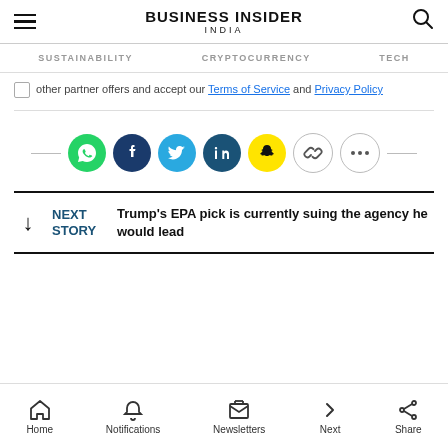BUSINESS INSIDER INDIA
SUSTAINABILITY  CRYPTOCURRENCY  TECH
other partner offers and accept our Terms of Service and Privacy Policy
[Figure (infographic): Social share icons row: WhatsApp (green), Facebook (dark blue), Twitter (blue), LinkedIn (dark blue), Snapchat (yellow), Link (outline), More (outline)]
NEXT STORY  Trump's EPA pick is currently suing the agency he would lead
Home  Notifications  Newsletters  Next  Share